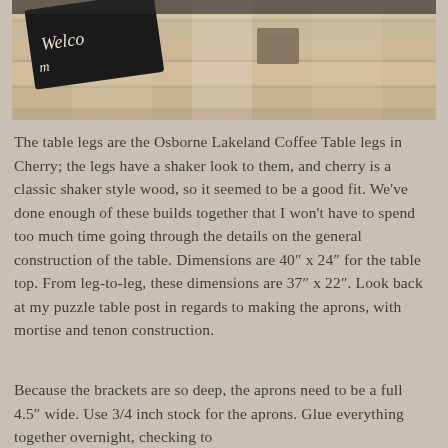[Figure (photo): Top-down photo of a wooden table surface with a 'Welcome' sign and a small wooden block visible on light-colored wood planks.]
The table legs are the Osborne Lakeland Coffee Table legs in Cherry; the legs have a shaker look to them, and cherry is a classic shaker style wood, so it seemed to be a good fit. We’ve done enough of these builds together that I won’t have to spend too much time going through the details on the general construction of the table. Dimensions are 40″ x 24″ for the table top. From leg-to-leg, these dimensions are 37″ x 22″. Look back at my puzzle table post in regards to making the aprons, with mortise and tenon construction.
Because the brackets are so deep, the aprons need to be a full 4.5″ wide. Use 3/4 inch stock for the aprons. Glue everything together overnight, checking to